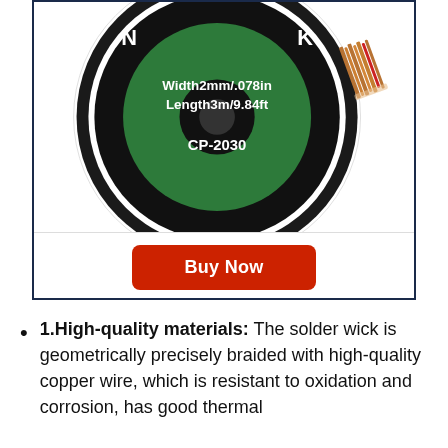[Figure (photo): Product photo of a solder wick reel (spool) with green center label showing 'Width2mm/.078in Length3m/9.84ft CP-2030', with braided copper wire visible at the side, displayed in a dark navy-bordered product card box.]
Buy Now
1.High-quality materials: The solder wick is geometrically precisely braided with high-quality copper wire, which is resistant to oxidation and corrosion, has good thermal